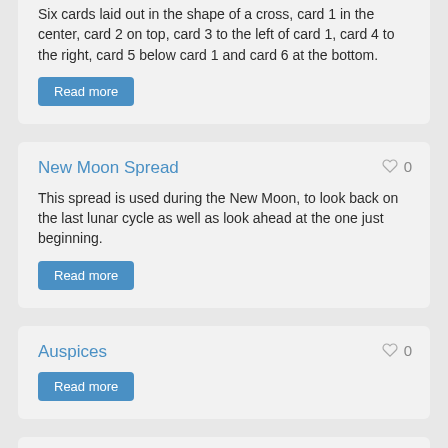Six cards laid out in the shape of a cross, card 1 in the center, card 2 on top, card 3 to the left of card 1, card 4 to the right, card 5 below card 1 and card 6 at the bottom.
Read more
New Moon Spread
This spread is used during the New Moon, to look back on the last lunar cycle as well as look ahead at the one just beginning.
Read more
Auspices
Read more
Auspices